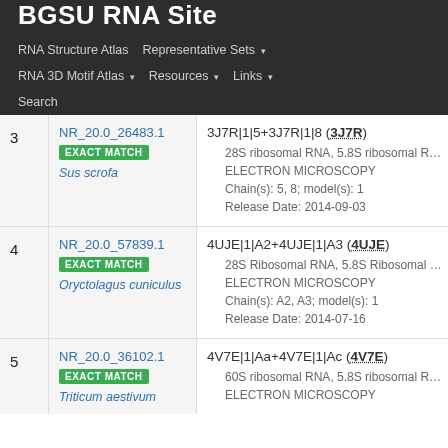BGSU RNA Site
RNA Structure Atlas | Representative Sets ▾ | RNA 3D Motif Atlas ▾ | Resources ▾ | Links ▾ | Search
| # | Entry | Details |
| --- | --- | --- |
| 3 | NR_20.0_26483.1 EXACT MATCH Sus scrofa | 3J7R|1|5+3J7R|1|8 (3J7R)
• 28S ribosomal RNA, 5.8S ribosomal RNA
• ELECTRON MICROSCOPY
• Chain(s): 5, 8; model(s): 1
• Release Date: 2014-09-03 |
| 4 | NR_20.0_57839.1 EXACT MATCH Oryctolagus cuniculus | 4UJE|1|A2+4UJE|1|A3 (4UJE)
• 28S Ribosomal RNA, 5.8S Ribosomal RNA
• ELECTRON MICROSCOPY
• Chain(s): A2, A3; model(s): 1
• Release Date: 2014-07-16 |
| 5 | NR_20.0_36102.1 EXACT MATCH Triticum aestivum | 4V7E|1|Aa+4V7E|1|Ac (4V7E)
• 60S ribosomal RNA, 5.8S ribosomal RNA
• ELECTRON MICROSCOPY |